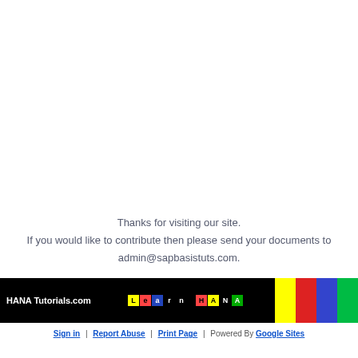Thanks for visiting our site.
If you would like to contribute then please send your documents to admin@sapbasistuts.com.
HANA Tutorials.com | Learn HANA [logo with colored tiles]
Sign in | Report Abuse | Print Page | Powered By Google Sites